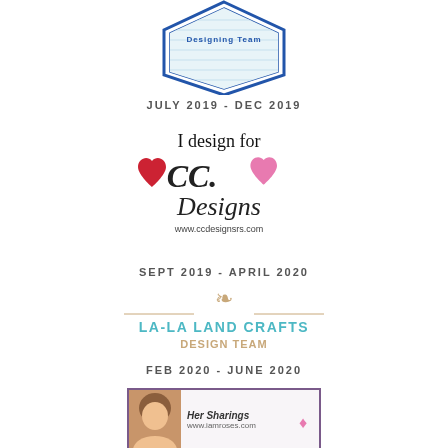[Figure (logo): Design Team badge logo (top, partially visible) with blue hexagon/shield shape]
JULY 2019 - DEC 2019
[Figure (logo): I design for CC Designs logo with hearts and cursive text, www.ccdesignsrs.com]
SEPT 2019 - APRIL 2020
[Figure (logo): La-La Land Crafts Design Team logo with decorative heart ornament]
FEB 2020 - JUNE 2020
[Figure (photo): Small photo badge with woman's photo and text 'Her Sharing www.iamroses.com']